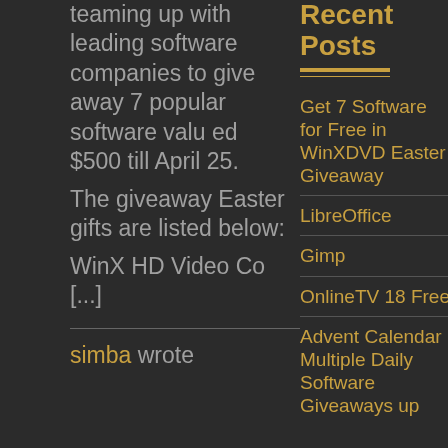teaming up with leading software companies to give away 7 popular software valued $500 till April 25. The giveaway Easter gifts are listed below: WinX HD Video Co [...]
simba wrote
Recent Posts
Get 7 Software for Free in WinXDVD Easter Giveaway
LibreOffice
Gimp
OnlineTV 18 Free
Advent Calendar Multiple Daily Software Giveaways up